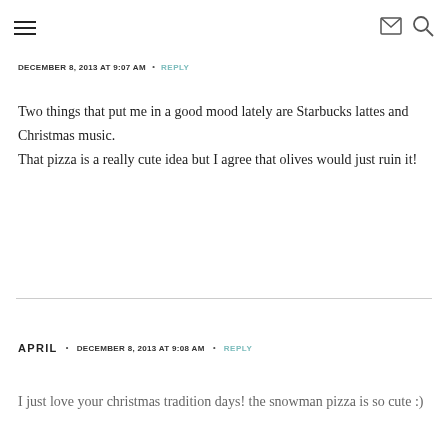≡ [menu icon] [mail icon] [search icon]
DECEMBER 8, 2013 AT 9:07 AM • REPLY
Two things that put me in a good mood lately are Starbucks lattes and Christmas music. That pizza is a really cute idea but I agree that olives would just ruin it!
APRIL • DECEMBER 8, 2013 AT 9:08 AM • REPLY
I just love your christmas tradition days! the snowman pizza is so cute :)